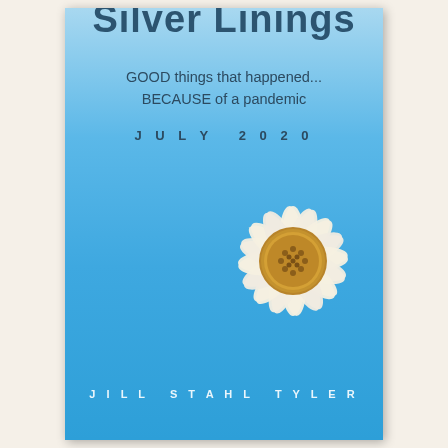Silver Linings
GOOD things that happened...
BECAUSE of a pandemic
JULY 2020
[Figure (illustration): White daisy flower with golden-brown center, shown partially cropped on the right side of the cover]
JILL STAHL TYLER